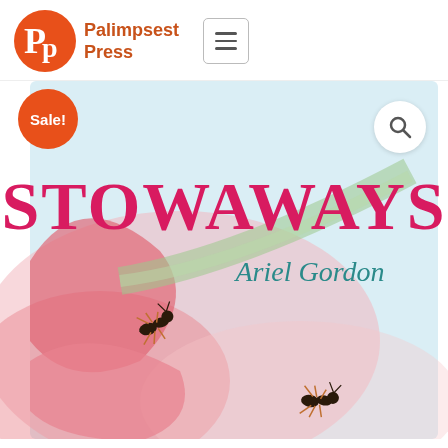[Figure (logo): Palimpsest Press logo: orange circle with 'Pp' letters in white, next to bold orange text reading 'Palimpsest Press']
[Figure (screenshot): Book cover for 'Stowaways' by Ariel Gordon. Light blue background with two ants on pink/red flower petals. Title 'STOWAWAYS' in large bold magenta serif font. Author name 'Ariel Gordon' in teal italic script below. Orange 'Sale!' badge in top-left. Search icon in top-right.]